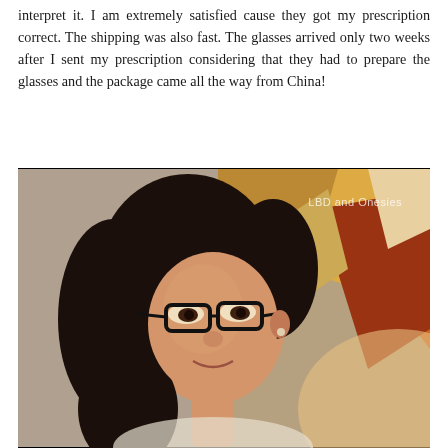interpret it. I am extremely satisfied cause they got my prescription correct. The shipping was also fast. The glasses arrived only two weeks after I sent my prescription considering that they had to prepare the glasses and the package came all the way from China!
[Figure (photo): Portrait photo of a young woman wearing black-framed glasses, smiling slightly, with long dark hair. Background shows colorful abstract artwork. Watermark text 'LBD and Onesies' in upper right corner.]